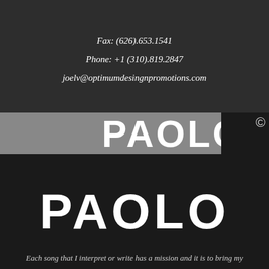Fax: (626).653.1541
Phone: +1 (310).819.2847
joelv@optimumdesingnpromotions.com
[Figure (logo): Partial PAOLO logo text in white on grey banner background with black box and copyright symbol on right]
[Figure (logo): PAOLO logo in large white bold text on dark background]
Each song that I interpret or write has a mission and it is to bring my